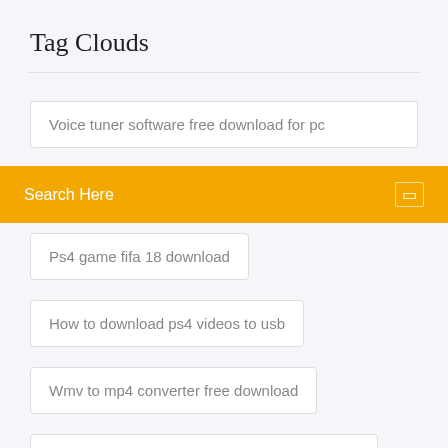Tag Clouds
Voice tuner software free download for pc
Search Here
Ps4 game fifa 18 download
How to download ps4 videos to usb
Wmv to mp4 converter free download
Files keep disapearing after downloading them